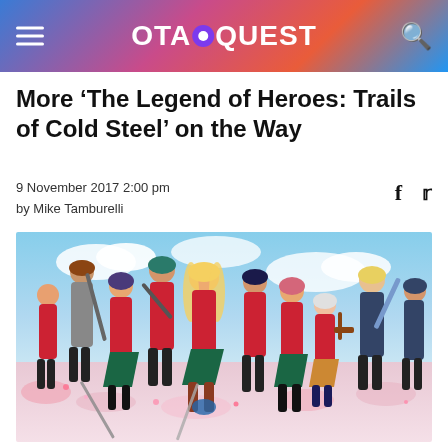OTAQUEST
More ‘The Legend of Heroes: Trails of Cold Steel’ on the Way
9 November 2017 2:00 pm
by Mike Tamburelli
[Figure (illustration): Anime key art showing a group of characters in red uniforms posing together against a stylized sky and flower backdrop from The Legend of Heroes: Trails of Cold Steel]